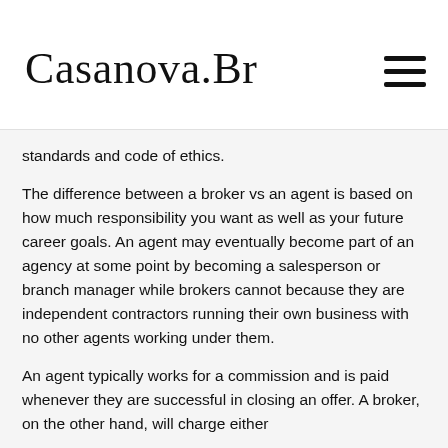[Figure (logo): Casanova Brooks cursive script logo]
standards and code of ethics.
The difference between a broker vs an agent is based on how much responsibility you want as well as your future career goals. An agent may eventually become part of an agency at some point by becoming a salesperson or branch manager while brokers cannot because they are independent contractors running their own business with no other agents working under them.
An agent typically works for a commission and is paid whenever they are successful in closing an offer. A broker, on the other hand, will charge either